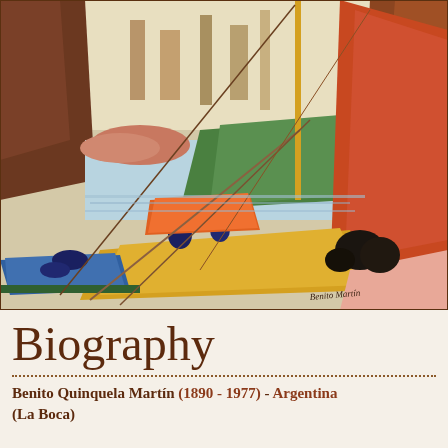[Figure (illustration): A colorful oil painting of a busy harbor scene with boats and workers, signed 'Benito Martín' in the lower right corner. The painting features vibrant colors — orange, yellow, green, blue — depicting docked boats and figures working at the waterfront, with industrial structures in the background.]
Biography
Benito Quinquela Martín (1890 - 1977) - Argentina (La Boca)